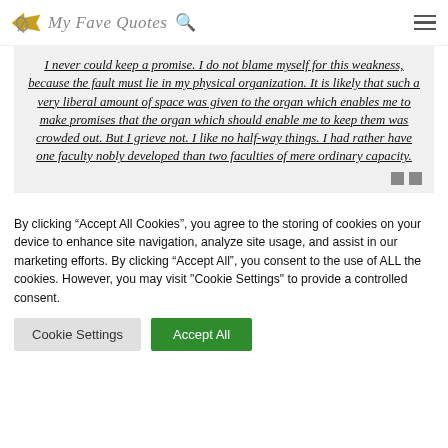My Fave Quotes
I never could keep a promise. I do not blame myself for this weakness, because the fault must lie in my physical organization. It is likely that such a very liberal amount of space was given to the organ which enables me to make promises that the organ which should enable me to keep them was crowded out. But I grieve not. I like no half-way things. I had rather have one faculty nobly developed than two faculties of mere ordinary capacity.
By clicking “Accept All Cookies”, you agree to the storing of cookies on your device to enhance site navigation, analyze site usage, and assist in our marketing efforts. By clicking “Accept All”, you consent to the use of ALL the cookies. However, you may visit "Cookie Settings" to provide a controlled consent.